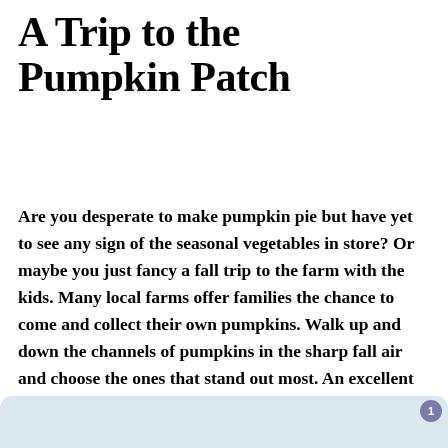A Trip to the Pumpkin Patch
Are you desperate to make pumpkin pie but have yet to see any sign of the seasonal vegetables in store? Or maybe you just fancy a fall trip to the farm with the kids. Many local farms offer families the chance to come and collect their own pumpkins. Walk up and down the channels of pumpkins in the sharp fall air and choose the ones that stand out most. An excellent seasonal day trip for the family.
[Figure (photo): Partial view of a light blue/grey image block at the bottom of the page, partially cut off]